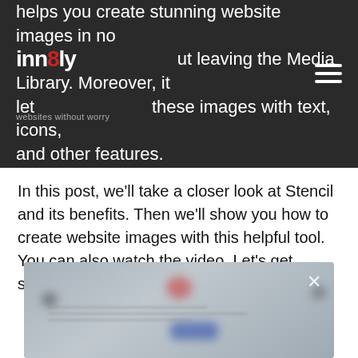helps you create stunning website images in no time, without leaving the Media Library. Moreover, it lets you overlay these images with text, icons, and other features.
In this post, we’ll take a closer look at Stencil and its benefits. Then we’ll show you how to create website images with this helpful tool. You can also watch the video. Let’s get started!
[Figure (screenshot): Blurred screenshot of a website image creation tool interface, with a red close (X) button in the top right corner. The screenshot shows blurred interface elements including what appears to be a red icon/logo and blue button elements.]